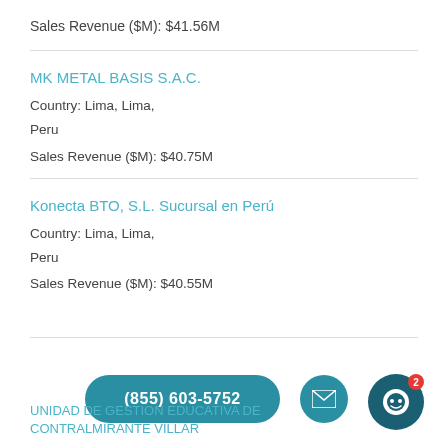Sales Revenue ($M): $41.56M
MK METAL BASIS S.A.C.
Country: Lima, Lima,
Peru
Sales Revenue ($M): $40.75M
Konecta BTO, S.L. Sucursal en Perú
Country: Lima, Lima,
Peru
Sales Revenue ($M): $40.55M
UNIDAD DE GESTION EDUCATIVA DE CONTRALMIRANTE VILLAR